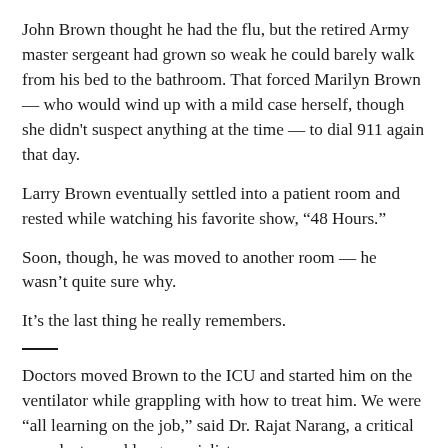John Brown thought he had the flu, but the retired Army master sergeant had grown so weak he could barely walk from his bed to the bathroom. That forced Marilyn Brown — who would wind up with a mild case herself, though she didn't suspect anything at the time — to dial 911 again that day.
Larry Brown eventually settled into a patient room and rested while watching his favorite show, “48 Hours.”
Soon, though, he was moved to another room — he wasn’t quite sure why.
It’s the last thing he really remembers.
Doctors moved Brown to the ICU and started him on the ventilator while grappling with how to treat him. We were “all learning on the job,” said Dr. Rajat Narang, a critical care doctor and lung specialist.